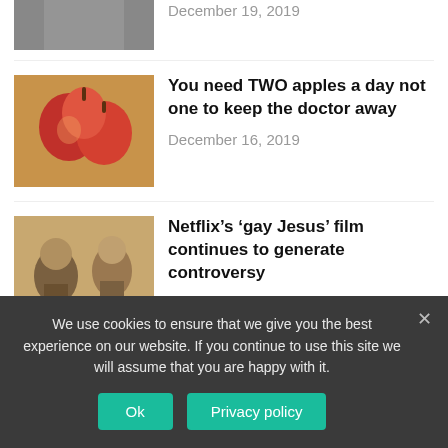[Figure (photo): Partial image of a person, cropped at top of page]
December 19, 2019
[Figure (photo): Photo of red apples on a wooden surface]
You need TWO apples a day not one to keep the doctor away
December 16, 2019
[Figure (photo): Two people looking surprised, Netflix film still]
Netflix’s ‘gay Jesus’ film continues to generate controversy
December 16, 2019
[Figure (photo): Woman in red dress, Nyekachi Douglas]
Why Nyekachi Douglas is everyone’s favorite ‘Miss World’
We use cookies to ensure that we give you the best experience on our website. If you continue to use this site we will assume that you are happy with it.